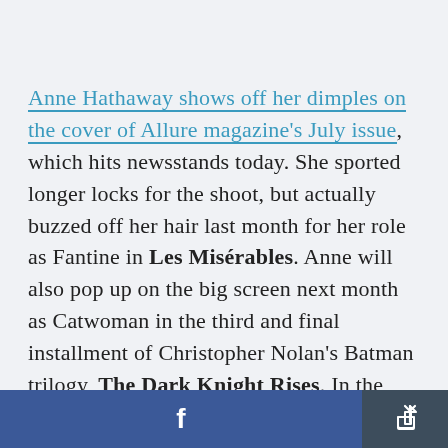Anne Hathaway shows off her dimples on the cover of Allure magazine's July issue, which hits newsstands today. She sported longer locks for the shoot, but actually buzzed off her hair last month for her role as Fantine in Les Misérables. Anne will also pop up on the big screen next month as Catwoman in the third and final installment of Christopher Nolan's Batman trilogy, The Dark Knight Rises. In the issue, Anne opened up about both roles and the changes she underwent for
f [share]